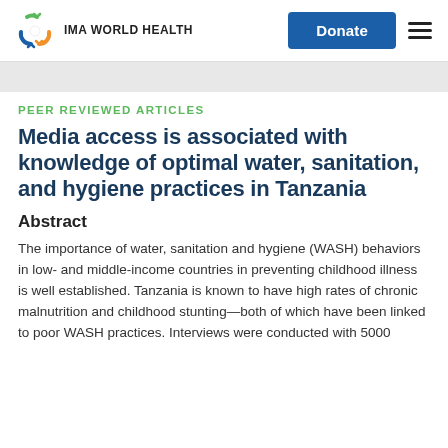IMA WORLD HEALTH
PEER REVIEWED ARTICLES
Media access is associated with knowledge of optimal water, sanitation, and hygiene practices in Tanzania
Abstract
The importance of water, sanitation and hygiene (WASH) behaviors in low- and middle-income countries in preventing childhood illness is well established. Tanzania is known to have high rates of chronic malnutrition and childhood stunting—both of which have been linked to poor WASH practices. Interviews were conducted with 5000